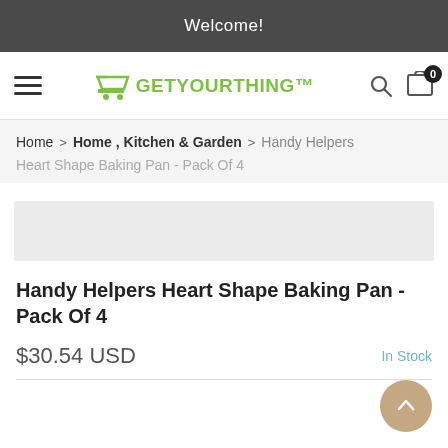Welcome!
[Figure (logo): GetYourThing™ green shopping cart logo with text GETYOURTHING™]
Home > Home , Kitchen & Garden > Handy Helpers
Heart Shape Baking Pan - Pack Of 4
[Figure (other): Product image placeholder (light gray bar)]
Handy Helpers Heart Shape Baking Pan - Pack Of 4
$30.54 USD
In Stock